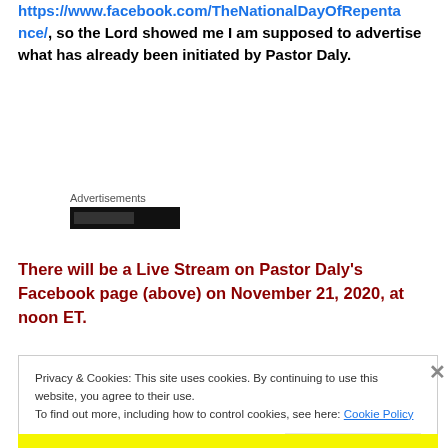https://www.facebook.com/TheNationalDayOfRepentance/, so the Lord showed me I am supposed to advertise what has already been initiated by Pastor Daly.
Advertisements
There will be a Live Stream on Pastor Daly's Facebook page (above) on November 21, 2020, at noon ET.
Privacy & Cookies: This site uses cookies. By continuing to use this website, you agree to their use.
To find out more, including how to control cookies, see here: Cookie Policy